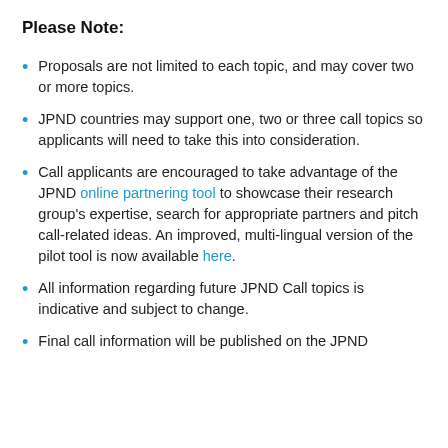Please Note:
Proposals are not limited to each topic, and may cover two or more topics.
JPND countries may support one, two or three call topics so applicants will need to take this into consideration.
Call applicants are encouraged to take advantage of the JPND online partnering tool to showcase their research group’s expertise, search for appropriate partners and pitch call-related ideas. An improved, multi-lingual version of the pilot tool is now available here.
All information regarding future JPND Call topics is indicative and subject to change.
Final call information will be published on the JPND